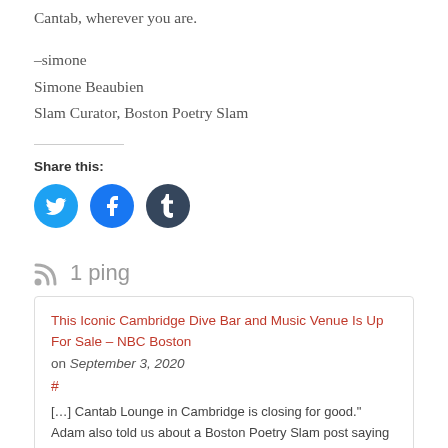Cantab, wherever you are.
–simone
Simone Beaubien
Slam Curator, Boston Poetry Slam
Share this:
[Figure (other): Social share buttons: Twitter (blue circle), Facebook (blue circle), Tumblr (dark circle)]
1 ping
This Iconic Cambridge Dive Bar and Music Venue Is Up For Sale – NBC Boston on September 3, 2020
#
[…] Cantab Lounge in Cambridge is closing for good." Adam also told us about a Boston Poetry Slam post saying that "Word went out that our home venue, the beloved and oft-fondly-maligned Cantab